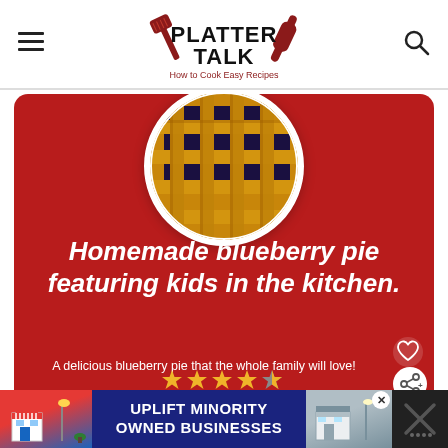PLATTER TALK — How to Cook Easy Recipes
[Figure (photo): Circular cropped photo of a homemade blueberry pie with golden lattice crust and blueberry filling visible through the lattice weave]
Homemade blueberry pie featuring kids in the kitchen.
A delicious blueberry pie that the whole family will love!
[Figure (other): Five star rating icons (gold stars) shown partially at the bottom of the red card]
[Figure (infographic): Advertisement banner: UPLIFT MINORITY OWNED BUSINESSES with colorful store illustrations on dark blue background]